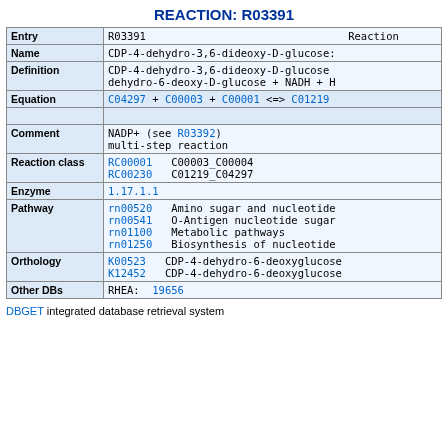REACTION: R03391
| Field | Value |
| --- | --- |
| Entry | R03391   Reaction |
| Name | CDP-4-dehydro-3,6-dideoxy-D-glucose: |
| Definition | CDP-4-dehydro-3,6-dideoxy-D-glucose
dehydro-6-deoxy-D-glucose + NADH + H |
| Equation | C04297 + C00003 + C00001 <=> C01219 |
| Comment | NADP+ (see R03392)
multi-step reaction |
| Reaction class | RC00001   C00003_C00004
RC00230   C01219_C04297 |
| Enzyme | 1.17.1.1 |
| Pathway | rn00520   Amino sugar and nucleotide
rn00541   O-Antigen nucleotide sugar
rn01100   Metabolic pathways
rn01250   Biosynthesis of nucleotide |
| Orthology | K00523   CDP-4-dehydro-6-deoxyglucose
K12452   CDP-4-dehydro-6-deoxyglucose |
| Other DBs | RHEA: 19656 |
DBGET integrated database retrieval system